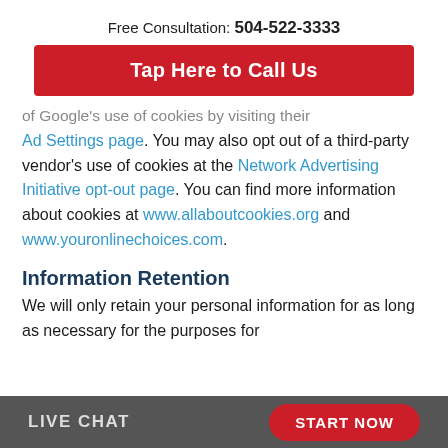Free Consultation: 504-522-3333
Tap Here to Call Us
of Google's use of cookies by visiting their Ad Settings page. You may also opt out of a third-party vendor's use of cookies at the Network Advertising Initiative opt-out page. You can find more information about cookies at www.allaboutcookies.org and www.youronlinechoices.com.
Information Retention
We will only retain your personal information for as long as necessary for the purposes for
LIVE CHAT   START NOW